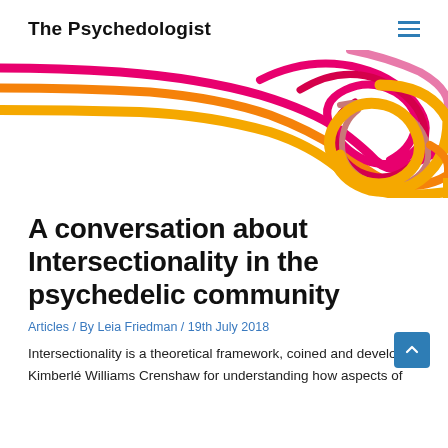The Psychedologist
[Figure (illustration): Abstract tangled colorful lines/ribbons in red, orange, yellow, pink and mauve colors forming a knotted swirl pattern on white background, spanning the full width of the page.]
A conversation about Intersectionality in the psychedelic community
Articles / By Leia Friedman / 19th July 2018
Intersectionality is a theoretical framework, coined and developed by Kimberlé Williams Crenshaw for understanding how aspects of